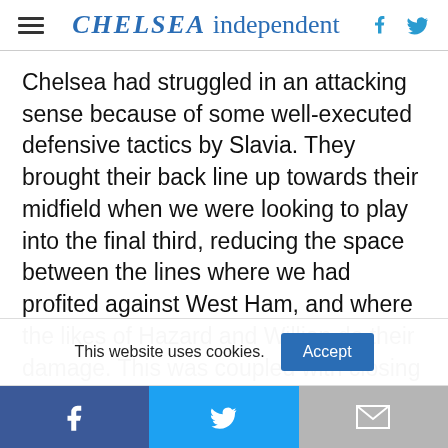CHELSEA independent
Chelsea had struggled in an attacking sense because of some well-executed defensive tactics by Slavia.  They brought their back line up towards their midfield when we were looking to play into the final third, reducing the space between the lines where we had profited against West Ham, and where the likes of Hazard and Willian do their damage.  This was coupled with closing our three midfielders down, and their own wingers effectively
This website uses cookies.
Facebook  Twitter  Gmail